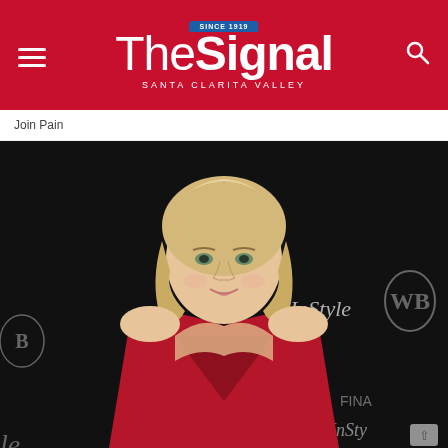The Signal — Santa Clarita Valley
Join Pain
[Figure (photo): A blonde woman wearing a red satin dress posing at an InStyle and Warner Bros. event. She has wavy shoulder-length hair and is smiling at the camera against a dark backdrop with InStyle and WB logos.]